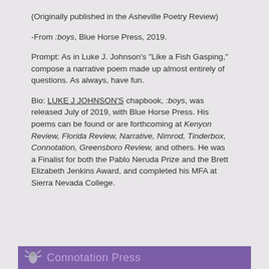(Originally published in the Asheville Poetry Review)
-From :boys, Blue Horse Press, 2019.
Prompt: As in Luke J. Johnson's "Like a Fish Gasping," compose a narrative poem made up almost entirely of questions. As always, have fun.
Bio: LUKE J JOHNSON'S chapbook, :boys, was released July of 2019, with Blue Horse Press. His poems can be found or are forthcoming at Kenyon Review, Florida Review, Narrative, Nimrod, Tinderbox, Connotation, Greensboro Review, and others. He was a Finalist for both the Pablo Neruda Prize and the Brett Elizabeth Jenkins Award, and completed his MFA at Sierra Nevada College.
Connotation Press